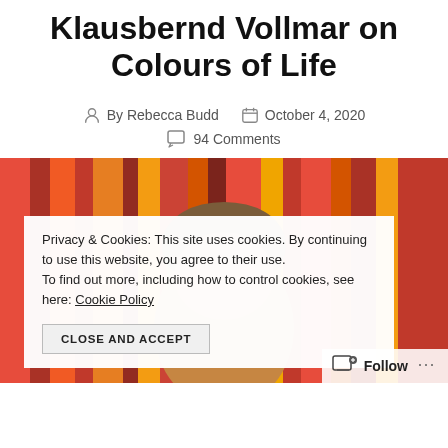Klausbernd Vollmar on Colours of Life
By Rebecca Budd   October 4, 2020   94 Comments
[Figure (photo): Partial photo of a person with short brown hair against a colorful striped red and orange background]
Privacy & Cookies: This site uses cookies. By continuing to use this website, you agree to their use.
To find out more, including how to control cookies, see here: Cookie Policy
CLOSE AND ACCEPT
Follow